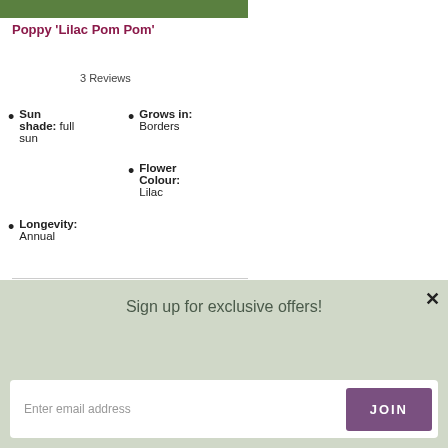[Figure (photo): Top portion of a plant/flower product image, partially cropped, showing green foliage with a logo mark.]
Poppy 'Lilac Pom Pom'
3 Reviews
Sun shade: full sun
Grows in: Borders
Flower Colour: Lilac
Longevity: Annual
[Figure (photo): Close-up photo of pink and white flowers (possibly Nicotiana or similar) with green stems on a dark background.]
Sign up for exclusive offers!
Enter email address
JOIN